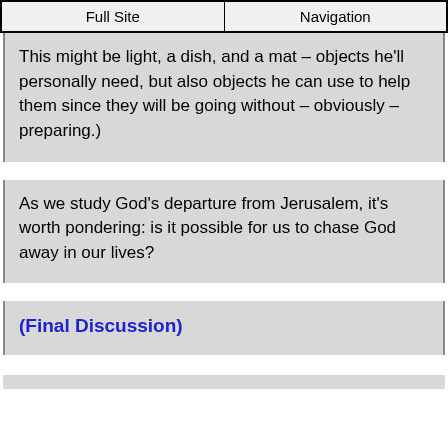Full Site | Navigation
This might be light, a dish, and a mat – objects he'll personally need, but also objects he can use to help them since they will be going without – obviously – preparing.)
As we study God's departure from Jerusalem, it's worth pondering: is it possible for us to chase God away in our lives?
(Final Discussion)